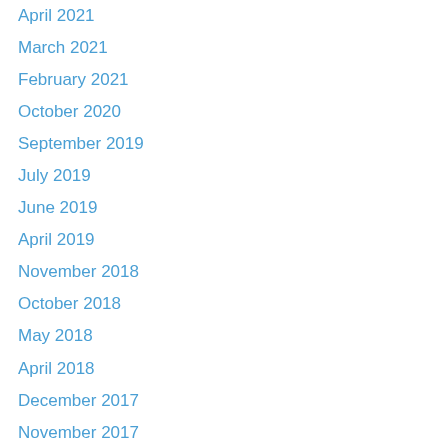April 2021
March 2021
February 2021
October 2020
September 2019
July 2019
June 2019
April 2019
November 2018
October 2018
May 2018
April 2018
December 2017
November 2017
October 2017
May 2017
April 2017
February 2017
January 2017
October 2016